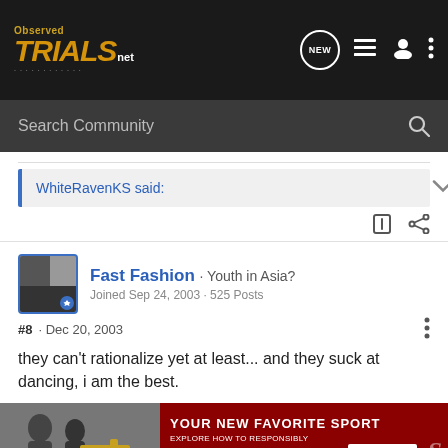Observed TRIALS.net
Search Community
WhiteRavenKS said:
Fast Fashion · Youth in Asia? Joined Sep 24, 2003 · 525 Posts
#8 · Dec 20, 2003
they can't rationalize yet at least... and they suck at dancing, i am the best.
[Figure (infographic): Advertisement banner: YOUR NEW FAVORITE SPORT - EXPLORE HOW TO RESPONSIBLY PARTICIPATE IN THE SHOOTING SPORTS. START HERE! button. Red background with photo of people on left.]